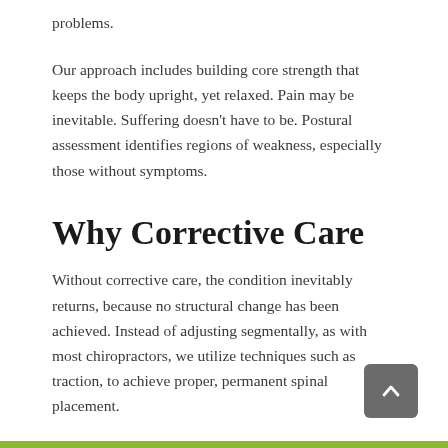problems.
Our approach includes building core strength that keeps the body upright, yet relaxed. Pain may be inevitable. Suffering doesn’t have to be. Postural assessment identifies regions of weakness, especially those without symptoms.
Why Corrective Care
Without corrective care, the condition inevitably returns, because no structural change has been achieved. Instead of adjusting segmentally, as with most chiropractors, we utilize techniques such as traction, to achieve proper, permanent spinal placement.
[Figure (other): Gray rounded rectangle scroll-to-top button with upward-pointing chevron arrow icon]